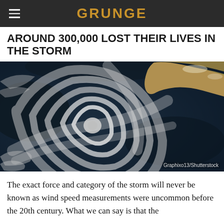GRUNGE
AROUND 300,000 LOST THEIR LIVES IN THE STORM
[Figure (photo): Satellite aerial view of a large spiral hurricane/cyclone storm system over dark ocean water, with a landmass (Iceland) visible in the upper right corner. The storm shows a classic tight spiral cloud formation.]
Graphixo13/Shutterstock
The exact force and category of the storm will never be known as wind speed measurements were uncommon before the 20th century. What we can say is that the